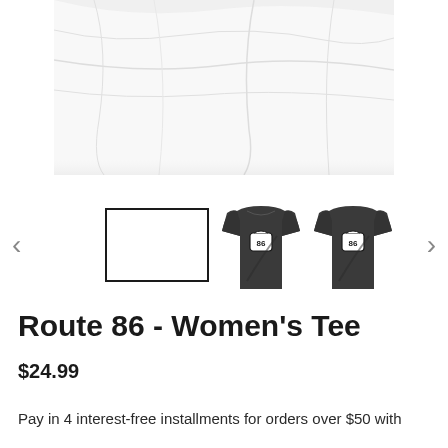[Figure (photo): White fabric/cloth product image shown at top, cropped. Below are three thumbnail images: first is a white rectangle (selected/active), second and third are dark gray women's t-shirts with Route 86 highway sign logo on the chest. Navigation arrows on left and right sides.]
Route 86 - Women's Tee
$24.99
Pay in 4 interest-free installments for orders over $50 with